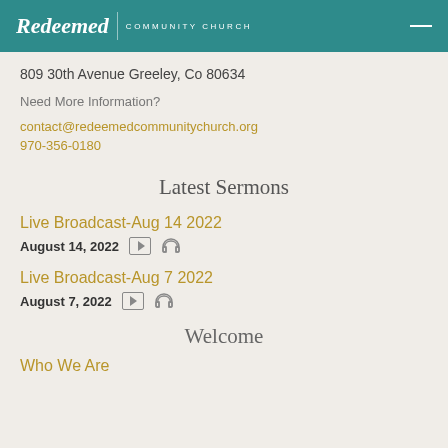Redeemed Community Church
809 30th Avenue Greeley, Co 80634
Need More Information?
contact@redeemedcommunitychurch.org
970-356-0180
Latest Sermons
Live Broadcast-Aug 14 2022
August 14, 2022
Live Broadcast-Aug 7 2022
August 7, 2022
Welcome
Who We Are